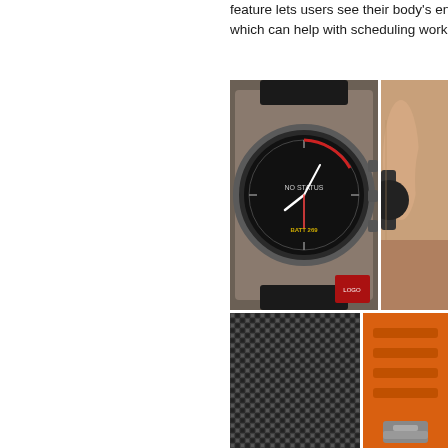feature lets users see their body's ener... which can help with scheduling worko...
[Figure (photo): Garmin smartwatch with dark round face showing compass/navigation display with 'NO STATUS' text, black band, on a tiled surface, with small red logo watermark in corner]
[Figure (photo): Close-up of a Garmin smartwatch being held in a hand, showing the side buttons]
[Figure (photo): Close-up of a dark carbon-fiber textured watch band or strap]
[Figure (photo): Close-up of an orange watch band with raised ribs/slots texture, with metallic watch clasp visible at bottom]